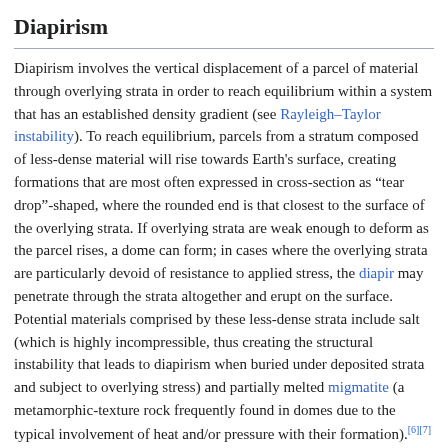Diapirism
Diapirism involves the vertical displacement of a parcel of material through overlying strata in order to reach equilibrium within a system that has an established density gradient (see Rayleigh–Taylor instability). To reach equilibrium, parcels from a stratum composed of less-dense material will rise towards Earth's surface, creating formations that are most often expressed in cross-section as "tear drop"-shaped, where the rounded end is that closest to the surface of the overlying strata. If overlying strata are weak enough to deform as the parcel rises, a dome can form; in cases where the overlying strata are particularly devoid of resistance to applied stress, the diapir may penetrate through the strata altogether and erupt on the surface. Potential materials comprised by these less-dense strata include salt (which is highly incompressible, thus creating the structural instability that leads to diapirism when buried under deposited strata and subject to overlying stress) and partially melted migmatite (a metamorphic-texture rock frequently found in domes due to the typical involvement of heat and/or pressure with their formation).[6][7]
Examples
Impact structures